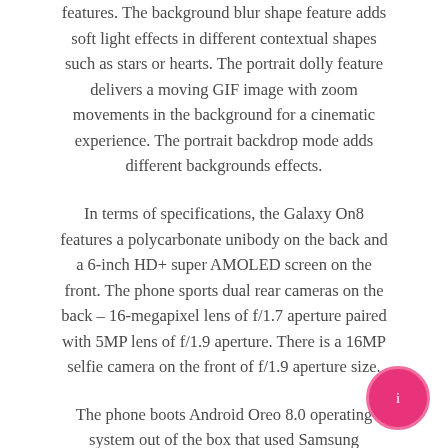features. The background blur shape feature adds soft light effects in different contextual shapes such as stars or hearts. The portrait dolly feature delivers a moving GIF image with zoom movements in the background for a cinematic experience. The portrait backdrop mode adds different backgrounds effects.
In terms of specifications, the Galaxy On8 features a polycarbonate unibody on the back and a 6-inch HD+ super AMOLED screen on the front. The phone sports dual rear cameras on the back – 16-megapixel lens of f/1.7 aperture paired with 5MP lens of f/1.9 aperture. There is a 16MP selfie camera on the front of f/1.9 aperture size.
The phone boots Android Oreo 8.0 operating system out of the box that used Samsung Experience user interface for added functionalities. Powering the smartphone is Qualcomm Snapdragon 450 processor mated with 4GB of RAM and 64GB of internal storage. The dual-SIM phone supports storage expansion to